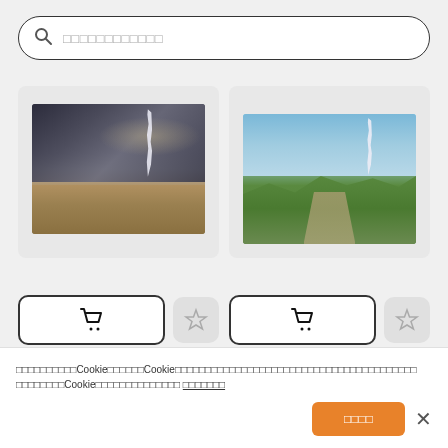[Figure (screenshot): Search bar with magnifying glass icon and placeholder text in Japanese/Chinese characters]
[Figure (photo): Photo of Sweden, Malmo, Turning Torso skyscraper on a stormy day with beach and dark cloudy sky]
[Figure (photo): Photo of Sweden, Malmo, Turning Torso skyscraper seen from a park path with green trees and blue sky]
Sweden. Malmo. Turning Torso, neo-futurist
Sweden. Malmo. Turning Torso, neo-futurist
Cookie notice text in Japanese/Chinese characters with underlined link and accept button